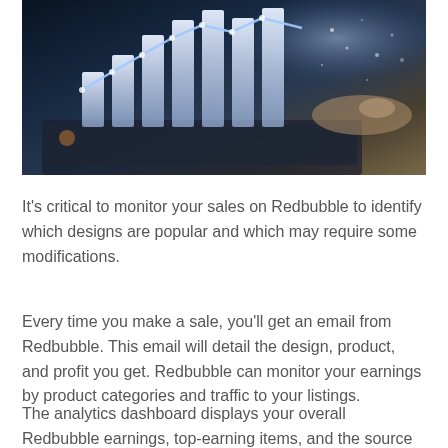[Figure (photo): Person typing on a laptop with overlaid holographic bar chart and line chart visualization, dark blue and warm tones]
It's critical to monitor your sales on Redbubble to identify which designs are popular and which may require some modifications.
Every time you make a sale, you'll get an email from Redbubble. This email will detail the design, product, and profit you get. Redbubble can monitor your earnings by product categories and traffic to your listings.
The analytics dashboard displays your overall Redbubble earnings, top-earning items, and the source of your traffic